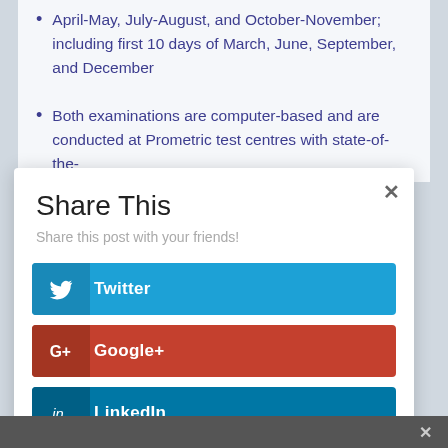April-May, July-August, and October-November; including first 10 days of March, June, September, and December
Both examinations are computer-based and are conducted at Prometric test centres with state-of-the-
Share This
Share this post with your friends!
Twitter
Google+
LinkedIn
Facebook